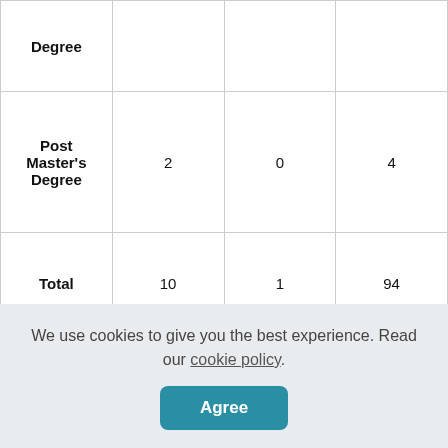| Degree |  |  |  |
| Post Master's Degree | 2 | 0 | 4 |
| Total | 10 | 1 | 94 |
We use cookies to give you the best experience. Read our cookie policy.